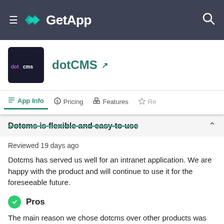GetApp
dotCMS
App Info | Pricing | Features | Re...
Dotcms is flexible and easy to use
Reviewed 19 days ago
Dotcms has served us well for an intranet application. We are happy with the product and will continue to use it for the foreseeable future.
Pros
The main reason we chose dotcms over other products was its ability to be customized to fit our needs without being overly complex. We need a product that folks without an IT background can navigate and use. Dotcms fit the best of both